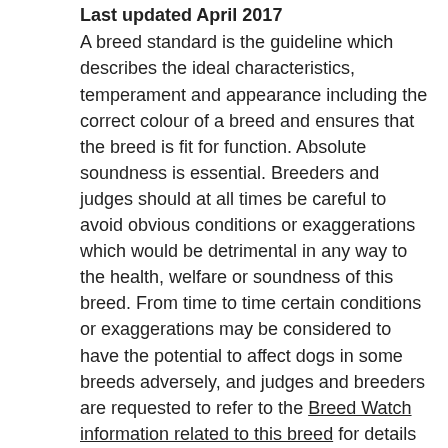Last updated April 2017
A breed standard is the guideline which describes the ideal characteristics, temperament and appearance including the correct colour of a breed and ensures that the breed is fit for function. Absolute soundness is essential. Breeders and judges should at all times be careful to avoid obvious conditions or exaggerations which would be detrimental in any way to the health, welfare or soundness of this breed. From time to time certain conditions or exaggerations may be considered to have the potential to affect dogs in some breeds adversely, and judges and breeders are requested to refer to the Breed Watch information related to this breed for details of any such current issues. If a feature or quality is desirable it should only be present in the right measure. However if a dog